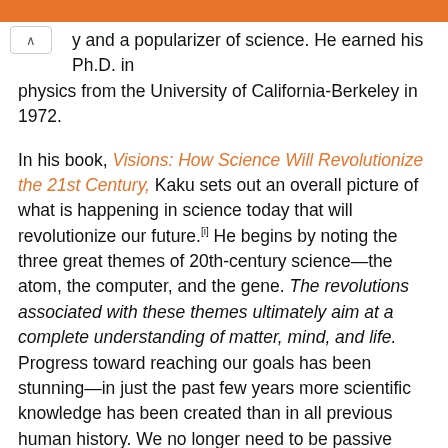y and a popularizer of science. He earned his Ph.D. in physics from the University of California-Berkeley in 1972.
In his book, Visions: How Science Will Revolutionize the 21st Century, Kaku sets out an overall picture of what is happening in science today that will revolutionize our future.[i] He begins by noting the three great themes of 20th-century science—the atom, the computer, and the gene. The revolutions associated with these themes ultimately aim at a complete understanding of matter, mind, and life. Progress toward reaching our goals has been stunning—in just the past few years more scientific knowledge has been created than in all previous human history. We no longer need to be passive observers of nature, we can be its active directors; we are moving from discovering nature's laws to being the masters of those laws.
The quantum revolution spawned the other two